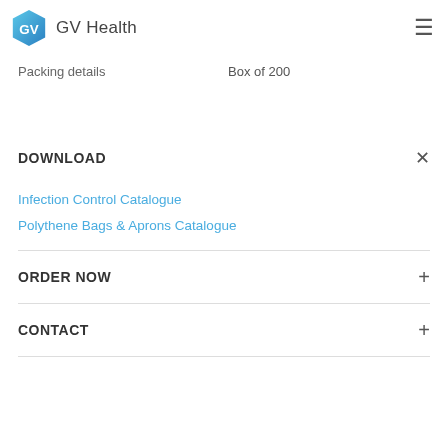GV Health
Packing details    Box of 200
DOWNLOAD
Infection Control Catalogue
Polythene Bags & Aprons Catalogue
ORDER NOW
CONTACT